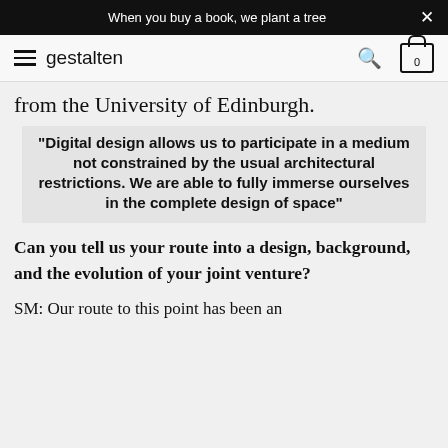When you buy a book, we plant a tree
gestalten
from the University of Edinburgh.
"Digital design allows us to participate in a medium not constrained by the usual architectural restrictions. We are able to fully immerse ourselves in the complete design of space"
Can you tell us your route into a design, background, and the evolution of your joint venture?
SM: Our route to this point has been an